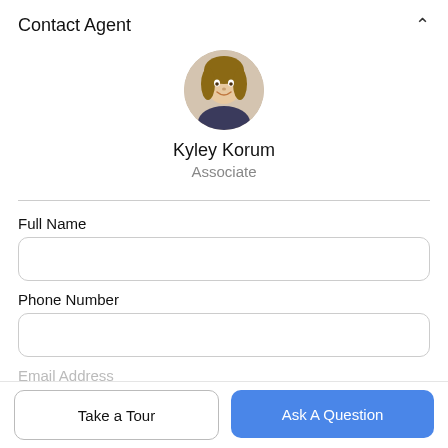Contact Agent
[Figure (photo): Circular profile photo of Kyley Korum, a woman with light brown wavy hair, smiling]
Kyley Korum
Associate
Full Name
Phone Number
Email Address
Take a Tour
Ask A Question